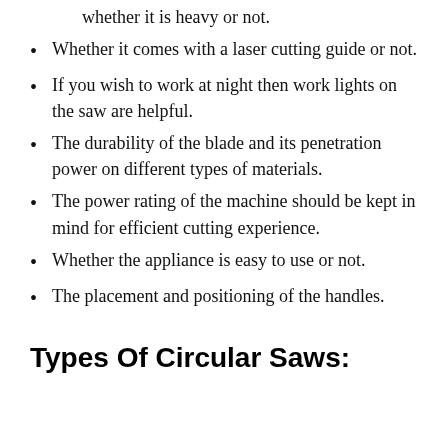whether it is heavy or not.
Whether it comes with a laser cutting guide or not.
If you wish to work at night then work lights on the saw are helpful.
The durability of the blade and its penetration power on different types of materials.
The power rating of the machine should be kept in mind for efficient cutting experience.
Whether the appliance is easy to use or not.
The placement and positioning of the handles.
Types Of Circular Saws: